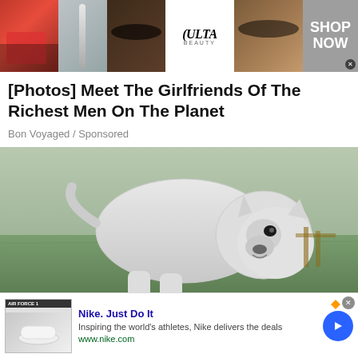[Figure (photo): Ulta Beauty banner advertisement showing makeup/beauty images with lipstick, makeup brushes, eye makeup, Ulta Beauty logo, model eyes, and a 'SHOP NOW' call to action button]
[Photos] Meet The Girlfriends Of The Richest Men On The Planet
Bon Voyaged / Sponsored
[Figure (photo): White pitbull dog standing outdoors on grass, facing the camera with a slight smile, muscular build]
[Figure (screenshot): Nike advertisement: 'Nike. Just Do It' - Inspiring the world's athletes, Nike delivers the deals. www.nike.com - with thumbnail image of Nike shoes and a blue arrow button]